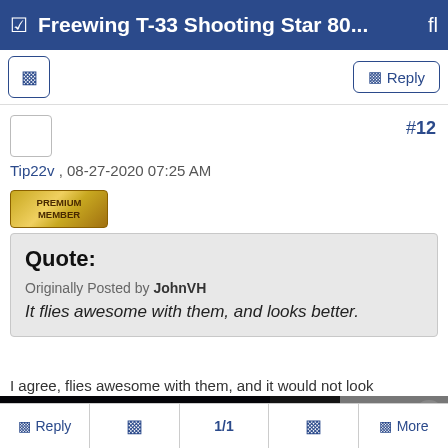Freewing T-33 Shooting Star 80...
Reply
#12
Tip22v , 08-27-2020 07:25 AM
[Figure (other): Premium Member badge (gold colored badge)]
Quote:
Originally Posted by JohnVH
It flies awesome with them, and looks better.
I agree, flies awesome with them, and it would not look
[Figure (other): Video player showing dark night sky on left half, and on right half text reading 'Meteor shower lights up Spain's Gran Canaria Island'. Error overlay reads: The media could not be loaded, either because the server or network failed or because the format is not supported.]
Reply  |  [icon]  |  1/1  |  [icon]  |  More